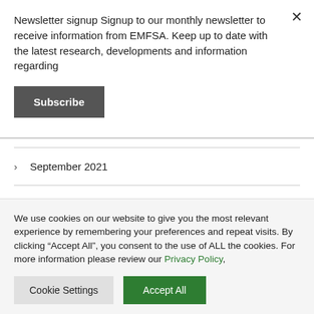Newsletter signup Signup to our monthly newsletter to receive information from EMFSA. Keep up to date with the latest research, developments and information regarding
Subscribe
September 2021
August 2021
We use cookies on our website to give you the most relevant experience by remembering your preferences and repeat visits. By clicking “Accept All”, you consent to the use of ALL the cookies. For more information please review our Privacy Policy,
Cookie Settings
Accept All